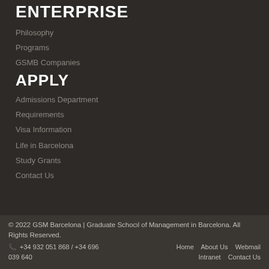ENTERPRISE
Philosophy
Programs
GSMB Companies
APPLY
Admissions Department
Requirements
Visa Information
Life in Barcelona
Study Grants
Contact Us
© 2022 GSM Barcelona | Graduate School of Management in Barcelona. All Rights Reserved.
☎ +34 932 051 868 / +34 696 039 640
Home   About Us   Webmail
Intranet   Contact Us